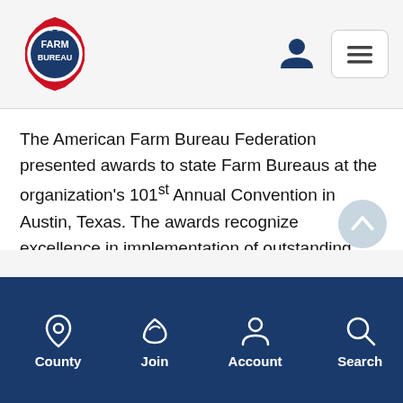[Figure (logo): Farm Bureau circular logo with red and blue colors]
The American Farm Bureau Federation presented awards to state Farm Bureaus at the organization's 101st Annual Convention in Austin, Texas. The awards recognize excellence in implementation of outstanding outreach programs in 2019.
Ohio Farm Bureau was the recipient of the New Horizon Award, honoring states with the most innovative new programs. This year's award recognizes the Ohio Farm Bureau Foundation's ExploreAg initiative, a weeklong program for high school students that...
County  Join  Account  Search